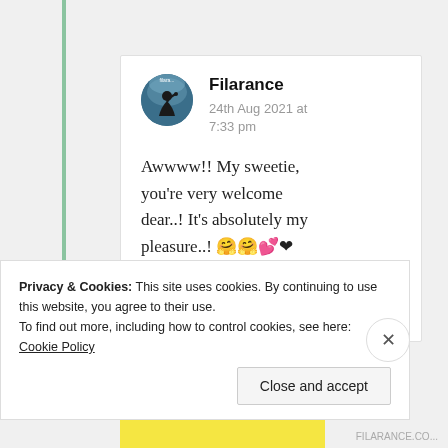[Figure (screenshot): Blog comment section screenshot showing a user named Filarance posting on 24th Aug 2021 at 7:33 pm with comment text about sweetie and welcome]
Filarance
24th Aug 2021 at 7:33 pm
Awwww!! My sweetie, you're very welcome dear..! It's absolutely my pleasure..! 🤗🤗💕❤
Privacy & Cookies: This site uses cookies. By continuing to use this website, you agree to their use. To find out more, including how to control cookies, see here: Cookie Policy
Close and accept